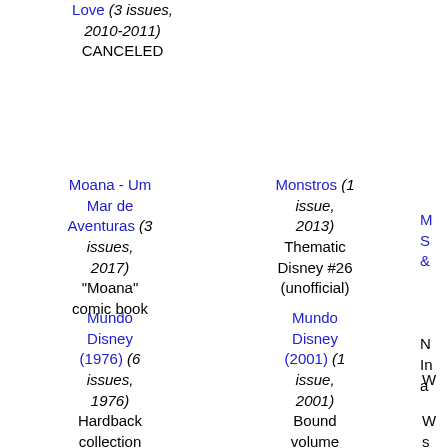Love (3 issues, 2010-2011) CANCELED
Moana - Um Mar de Aventuras (3 issues, 2017) "Moana" comic book
Monstros (1 issue, 2013) Thematic Disney #26 (unofficial)
Mundo Disney (1976) (6 issues, 1976) Hardback collection with articles
Mundo Disney (2001) (1 issue, 2001) Bound volume with some